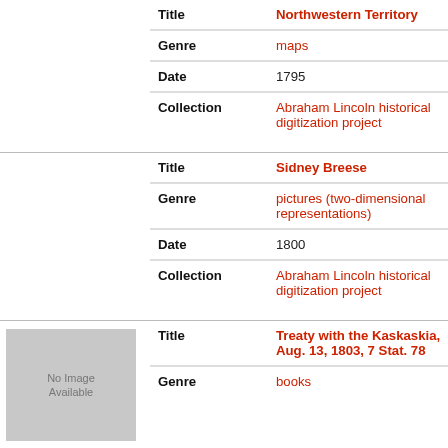| Field | Value |
| --- | --- |
| Title | Northwestern Territory |
| Genre | maps |
| Date | 1795 |
| Collection | Abraham Lincoln historical digitization project |
| Field | Value |
| --- | --- |
| Title | Sidney Breese |
| Genre | pictures (two-dimensional representations) |
| Date | 1800 |
| Collection | Abraham Lincoln historical digitization project |
| Field | Value |
| --- | --- |
| Title | Treaty with the Kaskaskia, Aug. 13, 1803, 7 Stat. 78 |
| Genre | books |